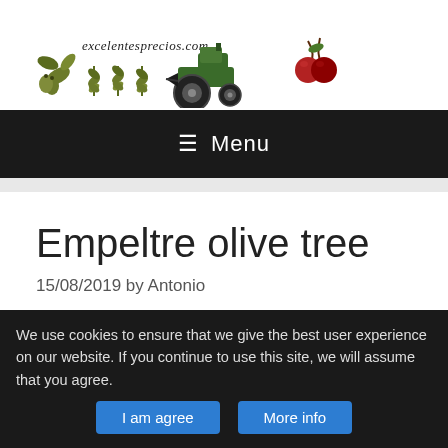[Figure (logo): excelentesprecios.com logo with olive branches, wheat/plant icons, tractor, and cherries in olive green and red colors]
≡ Menu
Empeltre olive tree
15/08/2019 by Antonio
We use cookies to ensure that we give the best user experience on our website. If you continue to use this site, we will assume that you agree.